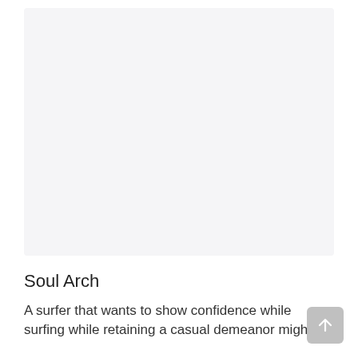[Figure (photo): Large light gray placeholder image area at the top of the page]
Soul Arch
A surfer that wants to show confidence while surfing while retaining a casual demeanor might